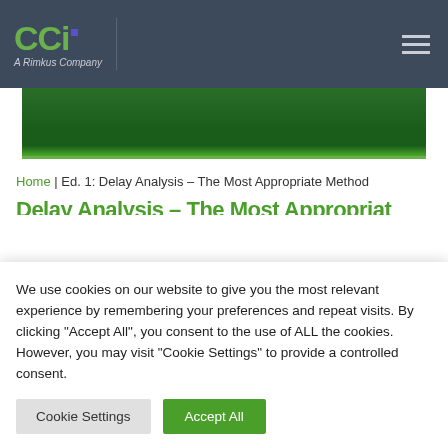[Figure (logo): CCi A Rimkus Company logo with green letters and hamburger menu on dark blue/grey navigation bar]
[Figure (illustration): Dark green banner/hero image with a bright green bottom border stripe]
Home | Ed. 1: Delay Analysis – The Most Appropriate Method
Delay Analysis – The Most Appropriate (partially visible)
We use cookies on our website to give you the most relevant experience by remembering your preferences and repeat visits. By clicking "Accept All", you consent to the use of ALL the cookies. However, you may visit "Cookie Settings" to provide a controlled consent.